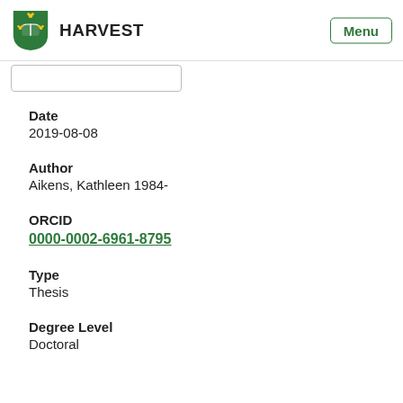HARVEST  Menu
Date
2019-08-08
Author
Aikens, Kathleen 1984-
ORCID
0000-0002-6961-8795
Type
Thesis
Degree Level
Doctoral